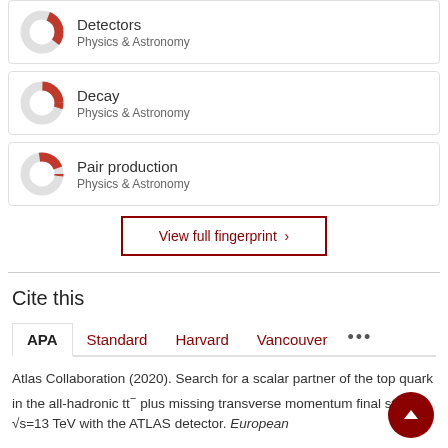[Figure (donut-chart): Donut chart showing partial fill (red arc ~30%), label: Detectors, Physics & Astronomy]
[Figure (donut-chart): Donut chart showing partial fill (red arc ~25%), label: Decay, Physics & Astronomy]
[Figure (donut-chart): Donut chart showing partial fill (red arc ~22%), label: Pair production, Physics & Astronomy]
View full fingerprint >
Cite this
APA | Standard | Harvard | Vancouver | ...
Atlas Collaboration (2020). Search for a scalar partner of the top quark in the all-hadronic tt⁻ plus missing transverse momentum final state at √s=13 TeV with the ATLAS detector. European